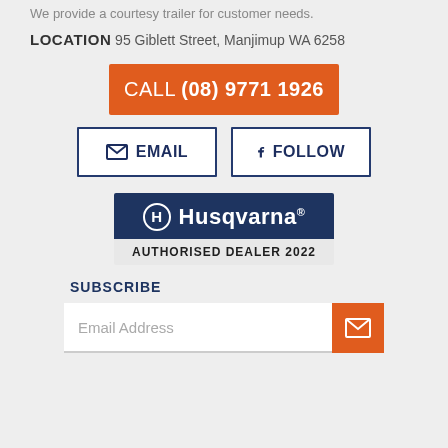We provide a courtesy trailer for customer needs.
LOCATION 95 Giblett Street, Manjimup WA 6258
[Figure (other): Orange call button: CALL (08) 9771 1926]
[Figure (other): Two outline buttons: EMAIL and FOLLOW (Facebook)]
[Figure (logo): Husqvarna Authorised Dealer 2022 badge]
SUBSCRIBE
[Figure (other): Email address input field with orange submit icon button]